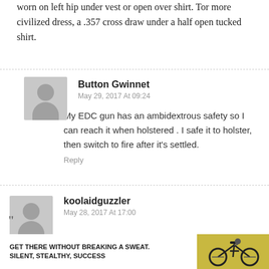worn on left hip under vest or open over shirt. Tor more civilized dress, a .357 cross draw under a half open tucked shirt.
Button Gwinnet
May 29, 2017 At 09:24
My EDC gun has an ambidextrous safety so I can reach it when holstered . I safe it to holster, then switch to fire after it's settled.
Reply
koolaidguzzler
May 28, 2017 At 17:00
Can I get that target online?
Anyone have a link or source?
Reply
[Figure (advertisement): Ad banner: GET THERE WITHOUT BREAKING A SWEAT. SILENT, STEALTHY, SUCCESS with a bicycle image on yellow/green background]